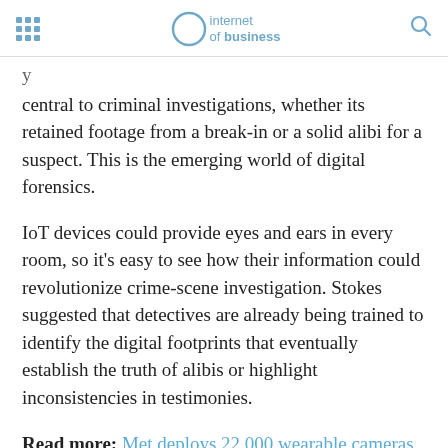internet of business
central to criminal investigations, whether its retained footage from a break-in or a solid alibi for a suspect. This is the emerging world of digital forensics.
IoT devices could provide eyes and ears in every room, so it's easy to see how their information could revolutionize crime-scene investigation. Stokes suggested that detectives are already being trained to identify the digital footprints that eventually establish the truth of alibis or highlight inconsistencies in testimonies.
Read more: Met deploys 22,000 wearable cameras